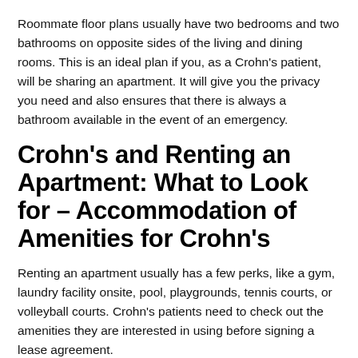Roommate floor plans usually have two bedrooms and two bathrooms on opposite sides of the living and dining rooms. This is an ideal plan if you, as a Crohn's patient, will be sharing an apartment. It will give you the privacy you need and also ensures that there is always a bathroom available in the event of an emergency.
Crohn's and Renting an Apartment: What to Look for – Accommodation of Amenities for Crohn's
Renting an apartment usually has a few perks, like a gym, laundry facility onsite, pool, playgrounds, tennis courts, or volleyball courts. Crohn's patients need to check out the amenities they are interested in using before signing a lease agreement.